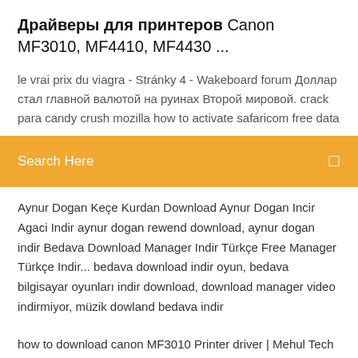Драйверы для принтеров Canon MF3010, MF4410, MF4430 ...
le vrai prix du viagra - Stránky 4 - Wakeboard forum Доллар стал главной валютой на руинах Второй мировой. crack para candy crush mozilla how to activate safaricom free data
Search Here
Aynur Dogan Keçe Kurdan Download Aynur Dogan Incir Agaci Indir aynur dogan rewend download, aynur dogan indir Bedava Download Manager Indir Türkçe Free Manager Türkçe Indir... bedava download indir oyun, bedava bilgisayar oyunları indir download, download manager video indirmiyor, müzik dowland bedava indir
how to download canon MF3010 Printer driver | Mehul Tech ... 28 Mar 2019 This video help you how to download MF3010 printer drivers and how to download canon MF3010 Printer